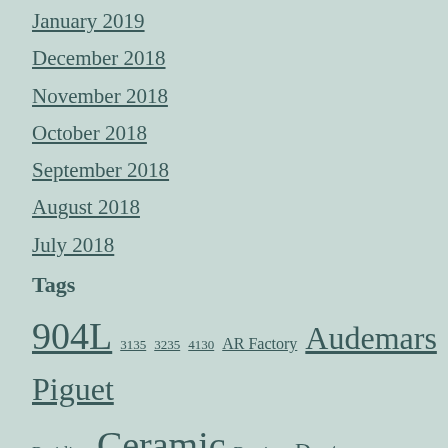January 2019
December 2018
November 2018
October 2018
September 2018
August 2018
July 2018
Tags
904L 3135 3235 4130 AR Factory Audemars Piguet Breitling Ceramic Datejust Daytona ETA 2824 ETA 2836 Forged Carbon GM Factory GMT-Master II Hublot IWC J12 Factory Leather Miyota 9015 Nautilus Noob Nylon Omega